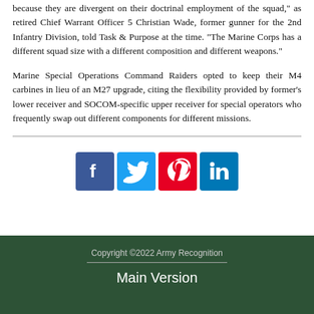because they are divergent on their doctrinal employment of the squad," as retired Chief Warrant Officer 5 Christian Wade, former gunner for the 2nd Infantry Division, told Task & Purpose at the time. "The Marine Corps has a different squad size with a different composition and different weapons."
Marine Special Operations Command Raiders opted to keep their M4 carbines in lieu of an M27 upgrade, citing the flexibility provided by former's lower receiver and SOCOM-specific upper receiver for special operators who frequently swap out different components for different missions.
[Figure (infographic): Four social media share buttons: Facebook (blue), Twitter (light blue), Pinterest (red), LinkedIn (dark blue)]
Copyright ©2022 Army Recognition
Main Version